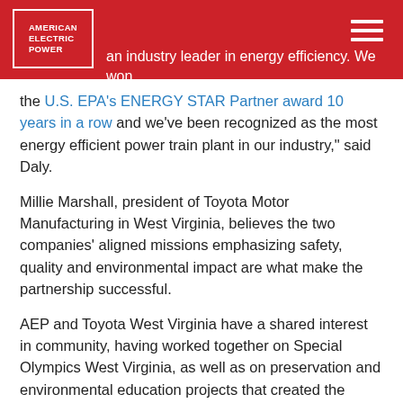American Electric Power [logo]
an industry leader in energy efficiency. We won the U.S. EPA's ENERGY STAR Partner award 10 years in a row and we've been recognized as the most energy efficient power train plant in our industry," said Daly.
Millie Marshall, president of Toyota Motor Manufacturing in West Virginia, believes the two companies' aligned missions emphasizing safety, quality and environmental impact are what make the partnership successful.
AEP and Toyota West Virginia have a shared interest in community, having worked together on Special Olympics West Virginia, as well as on preservation and environmental education projects that created the property today known as the Wetlands of Winfield.
“Throughout the years, AEP has consistently provided Toyota with reliable energy for the production of our powertrain products here in West Virginia,” said Marshall.